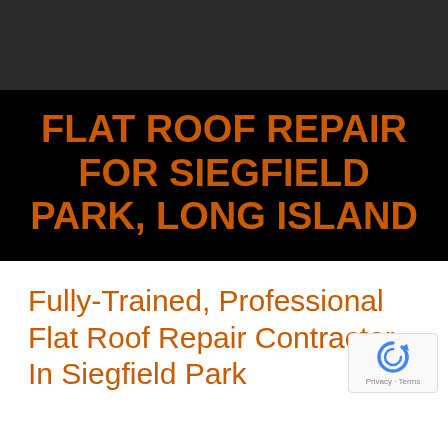[Figure (photo): Dark gray/black hero image banner at top of page]
FLAT ROOF REPAIR FOR SIEGFIELD PARK, LONG ISLAND
Fully-Trained, Professional Flat Roof Repair Contractor In Siegfield Park